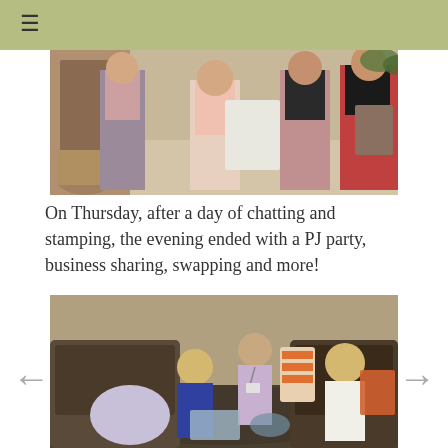[Figure (photo): Group of women in pajamas standing indoors, exchanging/swapping gift bags and items during a PJ party event.]
On Thursday, after a day of chatting and stamping, the evening ended with a PJ party, business sharing, swapping and more!
[Figure (photo): Women sitting on floor and sofas in a living room area engaged in business sharing and swapping activity during the PJ party evening.]